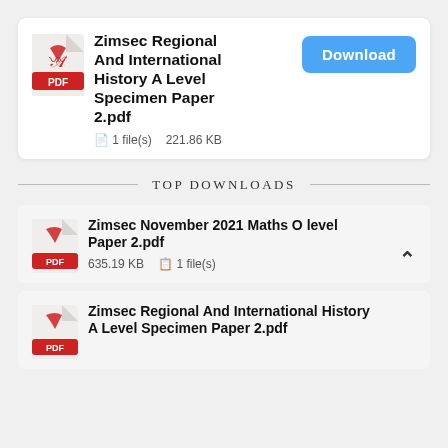[Figure (other): Download card for PDF: Zimsec Regional And International History A Level Specimen Paper 2.pdf. Shows PDF icon, title, file size 221.86 KB, 1 file(s), and a blue Download button.]
TOP DOWNLOADS
Zimsec November 2021 Maths O level Paper 2.pdf — 635.19 KB — 1 file(s)
Zimsec Regional And International History A Level Specimen Paper 2.pdf